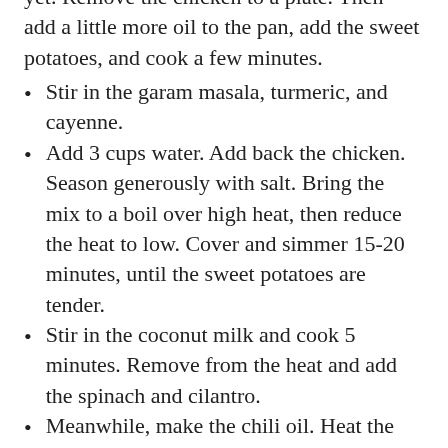yet. Remove the chicken to a plate. Then add a little more oil to the pan, add the sweet potatoes, and cook a few minutes.
Stir in the garam masala, turmeric, and cayenne.
Add 3 cups water. Add back the chicken. Season generously with salt. Bring the mix to a boil over high heat, then reduce the heat to low. Cover and simmer 15-20 minutes, until the sweet potatoes are tender.
Stir in the coconut milk and cook 5 minutes. Remove from the heat and add the spinach and cilantro.
Meanwhile, make the chili oil. Heat the olive oil in a small saucepan over medium-low heat. Stir in the sesame seeds, chili flakes, and cumin seeds, cook 30 seconds. Remove from the heat and stir in the paprika. Season the oil